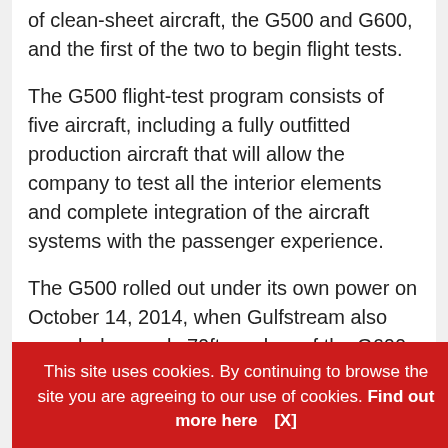of clean-sheet aircraft, the G500 and G600, and the first of the two to begin flight tests.
The G500 flight-test program consists of five aircraft, including a fully outfitted production aircraft that will allow the company to test all the interior elements and complete integration of the aircraft systems with the passenger experience.
The G500 rolled out under its own power on October 14, 2014, when Gulfstream also revealed a nearly 70ft mockup of the G600. The G500 is expected to receive type certification from the FAA and EASA in 2017. It is slated to enter service in 2018.
Gulfstream... the G500 will fly... Mach 0.85... maximum o... 5, the same... d
This site uses cookies. By continuing to browse the site you are agreeing to our use of cookies. Find out more here   [X]